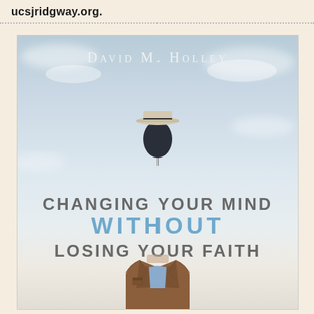ucsjridgway.org.
[Figure (illustration): Book cover for 'Changing Your Mind Without Losing Your Faith' by David M. Holley. Features a surrealist sky background with a floating hat-topped balloon figure above and a headless man in a brown suit jacket below. Title text reads: CHANGING YOUR MIND / WITHOUT / LOSING YOUR FAITH.]
DAVID M. HOLLEY — CHANGING YOUR MIND WITHOUT LOSING YOUR FAITH